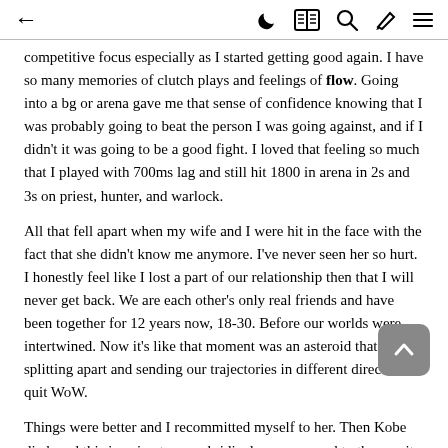← (back) | (moon icon) (reader icon) (search icon) (brush icon) (menu icon)
competitive focus especially as I started getting good again. I have so many memories of clutch plays and feelings of flow. Going into a bg or arena gave me that sense of confidence knowing that I was probably going to beat the person I was going against, and if I didn't it was going to be a good fight. I loved that feeling so much that I played with 700ms lag and still hit 1800 in arena in 2s and 3s on priest, hunter, and warlock.
All that fell apart when my wife and I were hit in the face with the fact that she didn't know me anymore. I've never seen her so hurt. I honestly feel like I lost a part of our relationship then that I will never get back. We are each other's only real friends and have been together for 12 years now, 18-30. Before our worlds were intertwined. Now it's like that moment was an asteroid that hit us, splitting apart and sending our trajectories in different directions. I quit WoW.
Things were better and I recommitted myself to her. Then Kobe died, and this is going to sound ridiculous compared to the gravity of the rest of this story, but that affected me pretty big. He was